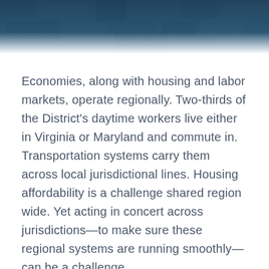[Figure (photo): Aerial/overhead photograph of an urban area with buildings and streets, overlaid with a dark blue tint. Used as a decorative header image.]
Economies, along with housing and labor markets, operate regionally. Two-thirds of the District's daytime workers live either in Virginia or Maryland and commute in. Transportation systems carry them across local jurisdictional lines. Housing affordability is a challenge shared region wide. Yet acting in concert across jurisdictions—to make sure these regional systems are running smoothly—can be a challenge.